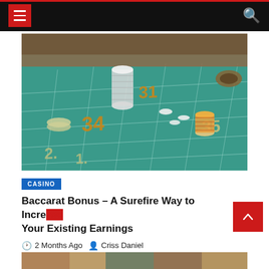Navigation bar with hamburger menu and search icon
[Figure (photo): Casino roulette table with chips stacked on teal felt, numbers 31, 34, 35, 2, 1 visible, people in background]
CASINO
Baccarat Bonus – A Surefire Way to Increase Your Existing Earnings
2 Months Ago  Criss Daniel
[Figure (photo): Partial image strip at bottom of page]